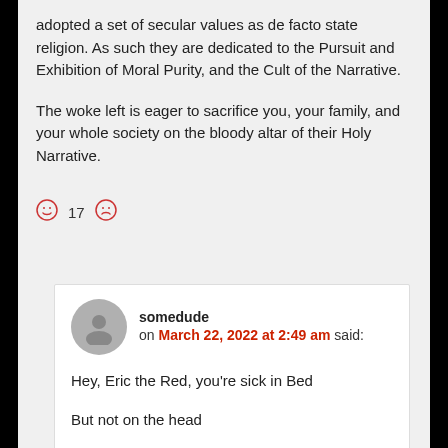adopted a set of secular values as de facto state religion. As such they are dedicated to the Pursuit and Exhibition of Moral Purity, and the Cult of the Narrative.
The woke left is eager to sacrifice you, your family, and your whole society on the bloody altar of their Holy Narrative.
☺ 17 ☹
somedude on March 22, 2022 at 2:49 am said:
Hey, Eric the Red, you're sick in Bed
But not on the head
☺ 1 ☹